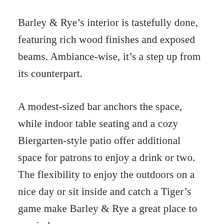Barley & Rye's interior is tastefully done, featuring rich wood finishes and exposed beams. Ambiance-wise, it's a step up from its counterpart.
A modest-sized bar anchors the space, while indoor table seating and a cozy Biergarten-style patio offer additional space for patrons to enjoy a drink or two. The flexibility to enjoy the outdoors on a nice day or sit inside and catch a Tiger's game make Barley & Rye a great place to unwind.